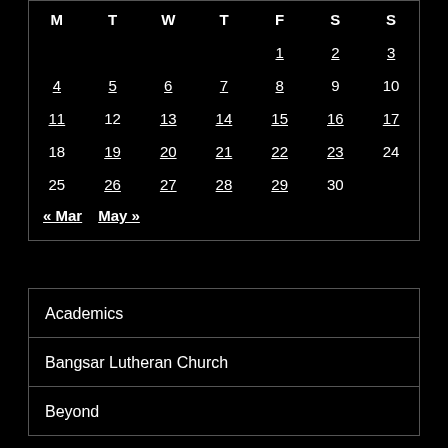| M | T | W | T | F | S | S |
| --- | --- | --- | --- | --- | --- | --- |
|  |  |  |  | 1 | 2 | 3 |
| 4 | 5 | 6 | 7 | 8 | 9 | 10 |
| 11 | 12 | 13 | 14 | 15 | 16 | 17 |
| 18 | 19 | 20 | 21 | 22 | 23 | 24 |
| 25 | 26 | 27 | 28 | 29 | 30 |  |
« Mar   May »
Academics
Bangsar Lutheran Church
Beyond